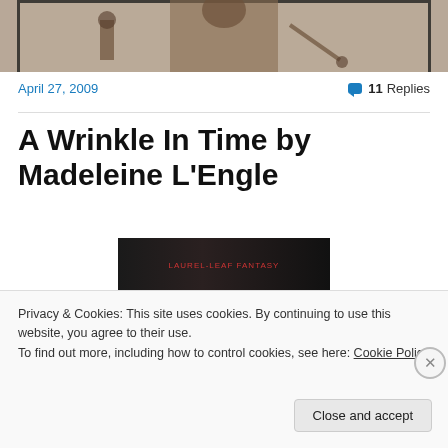[Figure (photo): Partial view of a person in medieval/warrior costume or statue, dark brown tones, cropped at top of page]
April 27, 2009
💬 11 Replies
A Wrinkle In Time by Madeleine L'Engle
[Figure (photo): Partial book cover image with dark background and red text, for A Wrinkle in Time]
Privacy & Cookies: This site uses cookies. By continuing to use this website, you agree to their use.
To find out more, including how to control cookies, see here: Cookie Policy